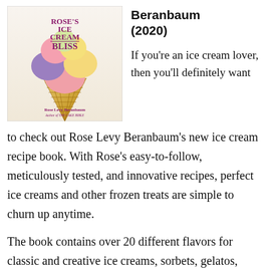[Figure (illustration): Book cover of Rose's Ice Cream Bliss by Rose Levy Beranbaum, showing colorful ice cream scoops in a waffle cone]
Beranbaum (2020)
If you're an ice cream lover, then you'll definitely want to check out Rose Levy Beranbaum's new ice cream recipe book. With Rose's easy-to-follow, meticulously tested, and innovative recipes, perfect ice creams and other frozen treats are simple to churn up anytime.
The book contains over 20 different flavors for classic and creative ice creams, sorbets, gelatos, sherbets, and more. It also includes